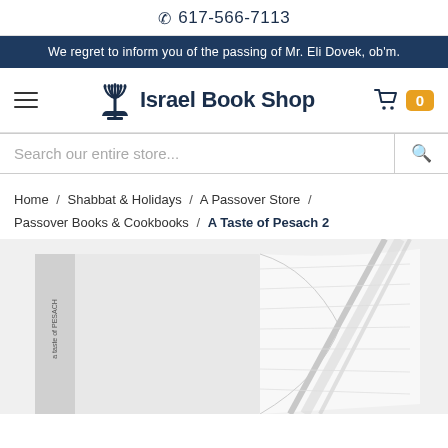617-566-7113
We regret to inform you of the passing of Mr. Eli Dovek, ob'm.
[Figure (logo): Israel Book Shop logo with menorah icon and bold text 'Israel Book Shop']
Search our entire store...
Home / Shabbat & Holidays / A Passover Store / Passover Books & Cookbooks / A Taste of Pesach 2
[Figure (photo): Partial view of a silver/white hardcover book spine and open pages showing 'a taste of PESACH']